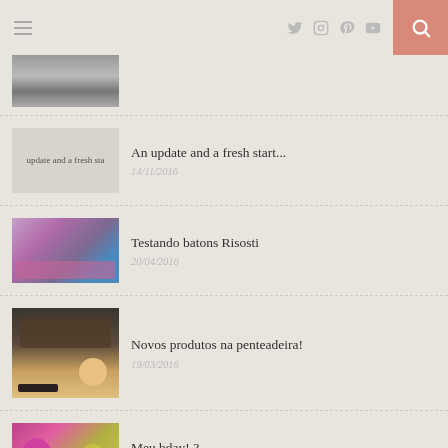Navigation header with hamburger menu, social icons (Twitter, Instagram, Pinterest, YouTube), and search button
[Figure (photo): Partial black and white portrait photo at top, cropped]
An update and a fresh start... — 14/11/2016
Testando batons Risosti — 20/04/2016
Novos produtos na penteadeira! — 19/03/2016
Meu bday! ? — 13/03/2016